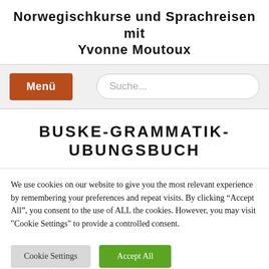Norwegischkurse und Sprachreisen mit Yvonne Moutoux
BUSKE-GRAMMATIK-UBUNGSBUCH
We use cookies on our website to give you the most relevant experience by remembering your preferences and repeat visits. By clicking “Accept All”, you consent to the use of ALL the cookies. However, you may visit "Cookie Settings" to provide a controlled consent.
Cookie Settings | Accept All